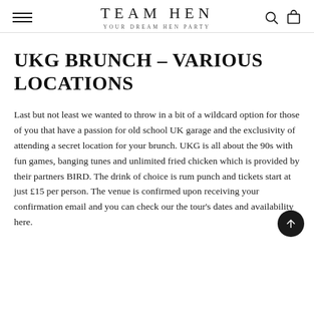TEAM HEN — YOUR DREAM HEN PARTY
UKG BRUNCH – VARIOUS LOCATIONS
Last but not least we wanted to throw in a bit of a wildcard option for those of you that have a passion for old school UK garage and the exclusivity of attending a secret location for your brunch. UKG is all about the 90s with fun games, banging tunes and unlimited fried chicken which is provided by their partners BIRD. The drink of choice is rum punch and tickets start at just £15 per person. The venue is confirmed upon receiving your confirmation email and you can check our the tour's dates and availability here.